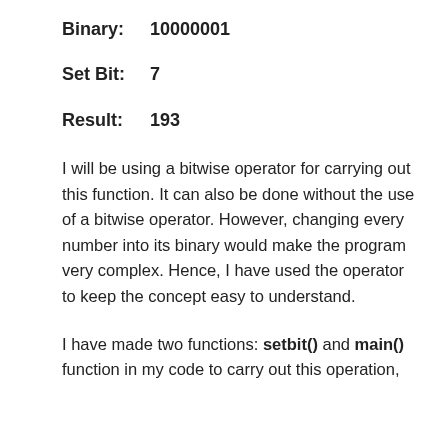Binary:    10000001
Set Bit:   7
Result:    193
I will be using a bitwise operator for carrying out this function. It can also be done without the use of a bitwise operator. However, changing every number into its binary would make the program very complex. Hence, I have used the operator to keep the concept easy to understand.
I have made two functions: setbit() and main() function in my code to carry out this operation,